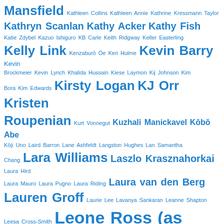tag cloud of author names including Kathryn Scanlan, Kathy Acker, Kathy Fish, Kelly Link, Kevin Barry, Kirsty Logan, KJ Orr, Kristen Roupenian, Lara Williams, Laszlo Krasznahorkai, Laura van den Berg, Lauren Groff, Leone Ross (as writer), Leonora Carrington, Leo Tolstoy, Lesley Nneka Arimah, Liliana Heker, Linda Mannheim (as writer), Lorrie Moore, Lucia Berlin, and many others